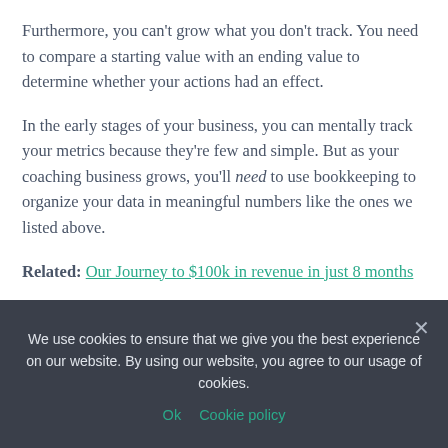Furthermore, you can't grow what you don't track. You need to compare a starting value with an ending value to determine whether your actions had an effect.
In the early stages of your business, you can mentally track your metrics because they're few and simple. But as your coaching business grows, you'll need to use bookkeeping to organize your data in meaningful numbers like the ones we listed above.
Related: Our Journey to $100k in revenue in just 8 months
We use cookies to ensure that we give you the best experience on our website. By using our website, you agree to our usage of cookies.